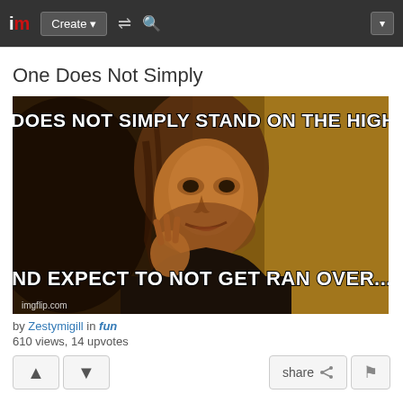im | Create | (shuffle) (search) | (dropdown)
One Does Not Simply
[Figure (photo): Meme image using the 'One Does Not Simply' Boromir template. Top text: 'ONE DOES NOT SIMPLY STAND ON THE HIGHWAY'. Bottom text: 'AND EXPECT TO NOT GET RAN OVER.....' Watermark: imgflip.com]
by Zestymigill in fun
610 views, 14 upvotes